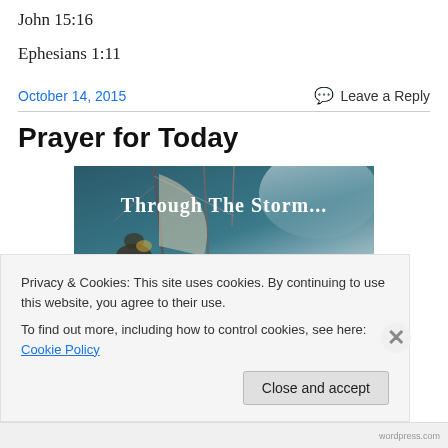John 15:16
Ephesians 1:11
October 14, 2015
Leave a Reply
Prayer for Today
[Figure (illustration): Image with text 'Through The Storm...' overlaid on a stormy ship scene with masts and sails, dark teal/blue tones]
Privacy & Cookies: This site uses cookies. By continuing to use this website, you agree to their use.
To find out more, including how to control cookies, see here: Cookie Policy
Close and accept